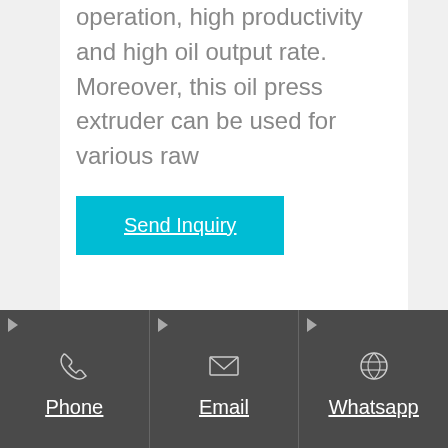operation, high productivity and high oil output rate. Moreover, this oil press extruder can be used for various raw
Send Inquiry
Mechanical Extraction
Phone
Email
Whatsapp